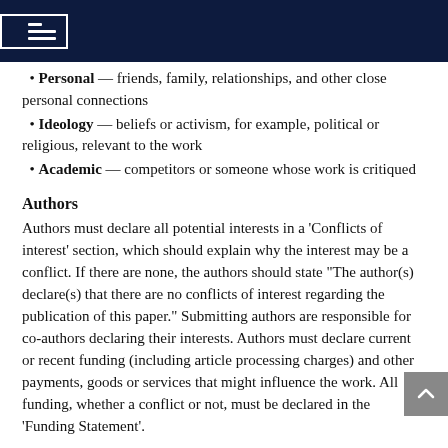Personal — friends, family, relationships, and other close personal connections
Ideology — beliefs or activism, for example, political or religious, relevant to the work
Academic — competitors or someone whose work is critiqued
Authors
Authors must declare all potential interests in a 'Conflicts of interest' section, which should explain why the interest may be a conflict. If there are none, the authors should state "The author(s) declare(s) that there are no conflicts of interest regarding the publication of this paper." Submitting authors are responsible for co-authors declaring their interests. Authors must declare current or recent funding (including article processing charges) and other payments, goods or services that might influence the work. All funding, whether a conflict or not, must be declared in the 'Funding Statement'.